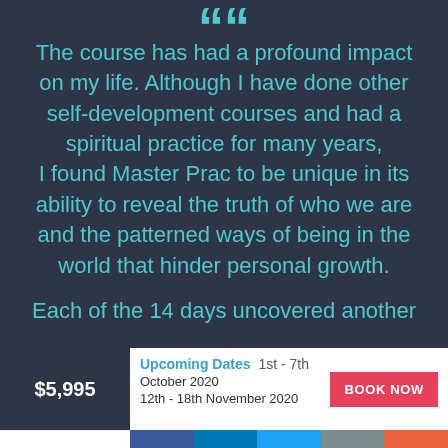““
The course has had a profound impact on my life. Although I have done other self-development courses and had a spiritual practice for many years, I found Master Prac to be unique in its ability to reveal the truth of who we are and the patterned ways of being in the world that hinder personal growth.
Each of the 14 days uncovered another
$5,995
Upcoming Dates  1st - 7th  October 2020  12th - 18th November 2020  BOOK NOW
0 SHARES
f in 𝒟 ✉ +